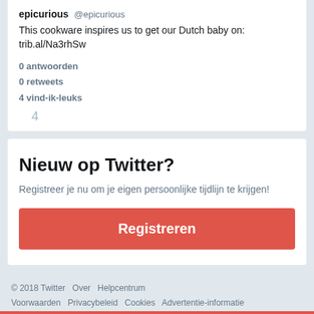epicurious @epicurious
This cookware inspires us to get our Dutch baby on: trib.al/Na3rhSw
0 antwoorden
0 retweets
4 vind-ik-leuks
4
Nieuw op Twitter?
Registreer je nu om je eigen persoonlijke tijdlijn te krijgen!
Registreren
© 2018 Twitter  Over  Helpcentrum  Voorwaarden  Privacybeleid  Cookies  Advertentie-informatie